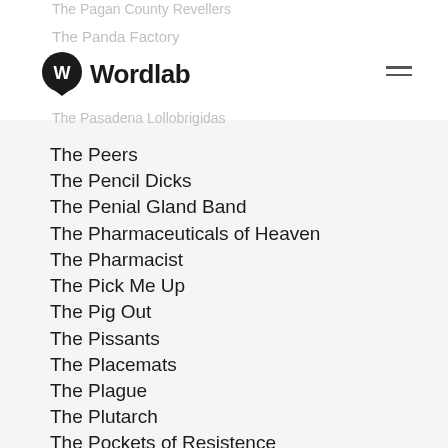Wordlab
The Pagan County Revellers
The Panda Factory
The Pasadena Lollobrigidas
The Peers
The Pencil Dicks
The Penial Gland Band
The Pharmaceuticals of Heaven
The Pharmacist
The Pick Me Up
The Pig Out
The Pissants
The Placemats
The Plague
The Plutarch
The Pockets of Resistence
The Pomp
The Pool of Pep
The Pop Express
The Poprocks
The Pork Chaps